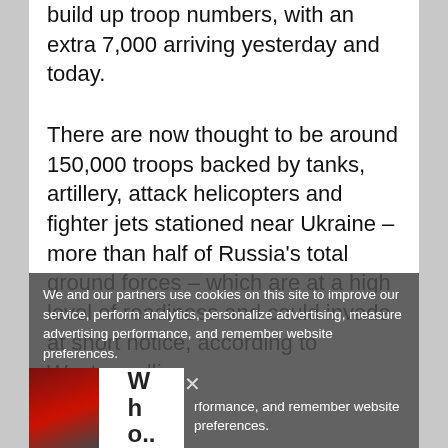build up troop numbers, with an extra 7,000 arriving yesterday and today.
There are now thought to be around 150,000 troops backed by tanks, artillery, attack helicopters and fighter jets stationed near Ukraine – more than half of Russia's total ground forces – which are at a high level of readiness and could invade at short notice, according to Western allies.
For Putin, the procession of foreign dignitaries flying in for talks, including France's president, Germany's chancellor and two British ministers [are drawing much of Moscow's security/] …s to the top of the world agenda.
We and our partners use cookies on this site to improve our service, perform analytics, personalize advertising, measure advertising performance, and remember website preferences.